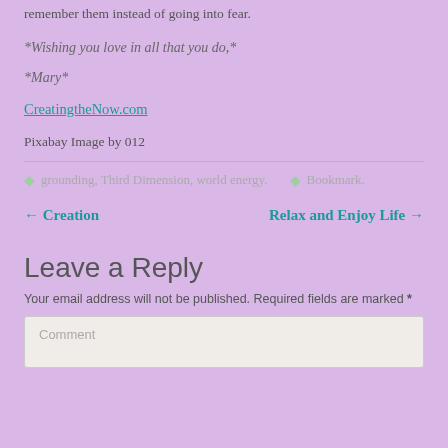remember them instead of going into fear.
Wishing you love in all that you do,
Mary
CreatingtheNow.com
Pixabay Image by 012
grounding, Third Dimension, world energy.   Bookmark.
← Creation   Relax and Enjoy Life →
Leave a Reply
Your email address will not be published. Required fields are marked *
Comment